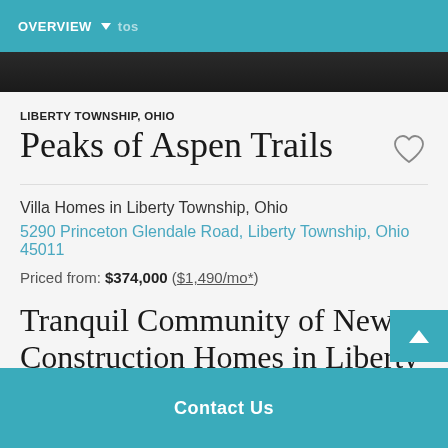OVERVIEW
LIBERTY TOWNSHIP, OHIO
Peaks of Aspen Trails
Villa Homes in Liberty Township, Ohio
5290 Princeton Glendale Road, Liberty Township, Ohio 45011
Priced from: $374,000 ($1,490/mo*)
Tranquil Community of New Construction Homes in Liberty Township
Contact Us